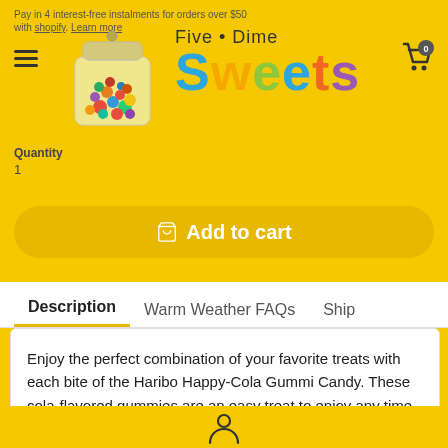Pay in 4 interest-free instalments for orders over $50 with shop pay. Learn more
[Figure (logo): Five & Dime Sweets candy shop logo with colorful candy jar and multicolor 'Sweets' text]
Quantity
1
Add to cart
Description
Warm Weather FAQs
Ship
Enjoy the perfect combination of your favorite treats with each bite of the Haribo Happy-Cola Gummi Candy. These cola-flavored gummies are an easy treat to enjoy any time of the day, whether you add a few to the kids' lunch boxes or you grab a
User account icon